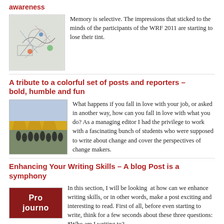awareness
[Figure (illustration): Sketch/drawing thumbnail image with colorful elements]
Memory is selective. The impressions that sticked to the minds of the participants of the WRF 2011 are starting to lose their tint.
A tribute to a colorful set of posts and reporters – bold, humble and fun
[Figure (photo): Photo of a group of people in front of a building with yellow canopy]
What happens if you fall in love with your job, or asked in another way, how can you fall in love with what you do? As a managing editor I had the privilege to work with a fascinating bunch of students who were supposed to write about change and cover the perspectives of change makers.
Enhancing Your Writing Skills – A blog Post is a symphony
[Figure (logo): Pro Journo logo — dark red background with white text 'Pro journo']
In this section, I will be looking at how can we enhance writing skills, or in other words, make a post exciting and interesting to read. First of all, before even starting to write, think for a few seconds about these three questions: *Who am I writing to?